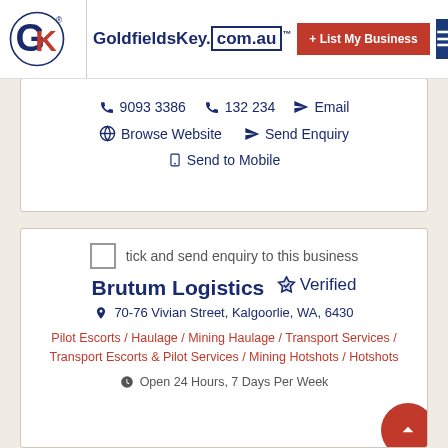GoldfieldsKey.com.au — List My Business
9093 3386   132 234   Email   Browse Website   Send Enquiry   Send to Mobile
tick and send enquiry to this business
Brutum Logistics   Verified
70-76 Vivian Street, Kalgoorlie, WA, 6430
Pilot Escorts / Haulage / Mining Haulage / Transport Services / Transport Escorts & Pilot Services / Mining Hotshots / Hotshots
Open 24 Hours, 7 Days Per Week